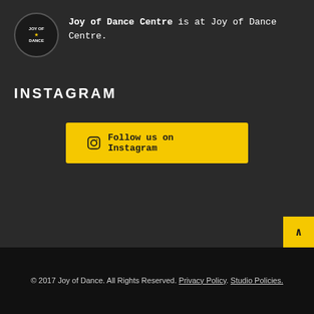[Figure (logo): Joy of Dance Centre circular logo with star and text]
Joy of Dance Centre is at Joy of Dance Centre.
INSTAGRAM
Follow us on Instagram
© 2017 Joy of Dance. All Rights Reserved. Privacy Policy. Studio Policies.